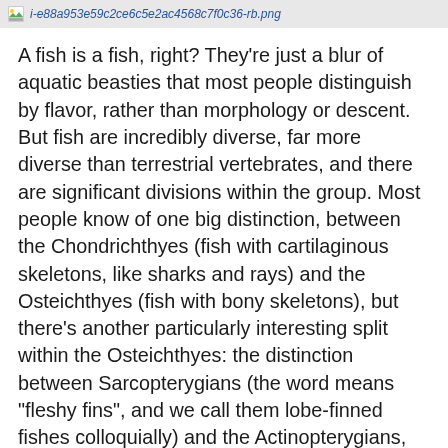i-e88a953e59c2ce6c5e2ac4568c7f0c36-rb.png
A fish is a fish, right? They're just a blur of aquatic beasties that most people distinguish by flavor, rather than morphology or descent. But fish are incredibly diverse, far more diverse than terrestrial vertebrates, and there are significant divisions within the group. Most people know of one big distinction, between the Chondrichthyes (fish with cartilaginous skeletons, like sharks and rays) and the Osteichthyes (fish with bony skeletons), but there's another particularly interesting split within the Osteichthyes: the distinction between Sarcopterygians (the word means "fleshy fins", and we call them lobe-finned fishes colloquially) and the Actinopterygians, the ray-finned fishes. The lobe-finned fishes most distinctive feature is the muscular and bony central core of their fins — extant forms are the coelacanth and lungfish. It is this lineage that led to us terrestrial tetrapods, but other than that successful